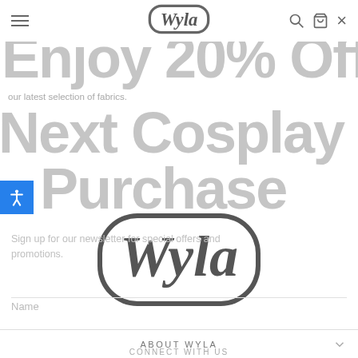[Figure (screenshot): Website screenshot showing the Wyla cosplay fabrics store with a popup modal offering 20% off. The page shows a navigation bar with hamburger menu and Wyla logo, large gray promotional text 'Enjoy 20% Off Your Next Cosplay Fabrics Purchase', a large dark Wyla logo in the center of the modal, sign-up text, a Name input field, and an About Wyla accordion footer section.]
Wyla
Enjoy 20% Off Your Next Cosplay Fabrics Purchase
our latest selection of fabrics.
Sign up for our newsletter for special offers and promotions.
Name
ABOUT WYLA
CONNECT WITH US